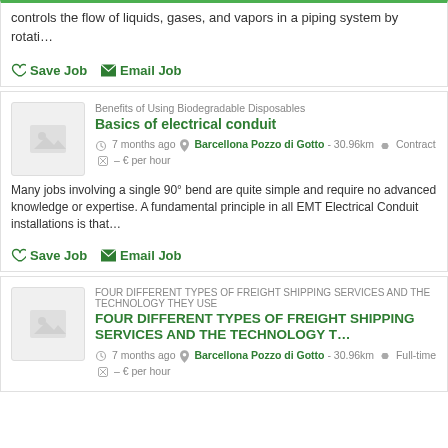controls the flow of liquids, gases, and vapors in a piping system by rotati…
Save Job  Email Job
[Figure (screenshot): Thumbnail placeholder image for job listing 2]
Benefits of Using Biodegradable Disposables
Basics of electrical conduit
7 months ago  Barcellona Pozzo di Gotto - 30.96km  Contract  – € per hour
Many jobs involving a single 90° bend are quite simple and require no advanced knowledge or expertise. A fundamental principle in all EMT Electrical Conduit  installations is that…
Save Job  Email Job
[Figure (screenshot): Thumbnail placeholder image for job listing 3]
FOUR DIFFERENT TYPES OF FREIGHT SHIPPING SERVICES AND THE TECHNOLOGY THEY USE
FOUR DIFFERENT TYPES OF FREIGHT SHIPPING SERVICES AND THE TECHNOLOGY T…
7 months ago  Barcellona Pozzo di Gotto - 30.96km  Full-time  – € per hour